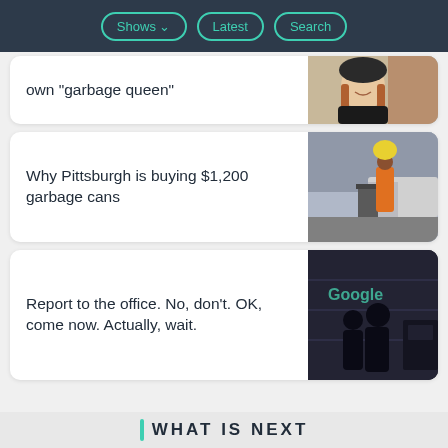Shows | Latest | Search
own "garbage queen"
[Figure (photo): Woman with dark beanie hat smiling, brown hair, outdoors near magazines]
Why Pittsburgh is buying $1,200 garbage cans
[Figure (photo): Worker in orange vest lifting yellow garbage bag near truck on city street]
Report to the office. No, don't. OK, come now. Actually, wait.
[Figure (photo): Silhouettes of people in front of Google office building at night]
WHAT IS NEXT